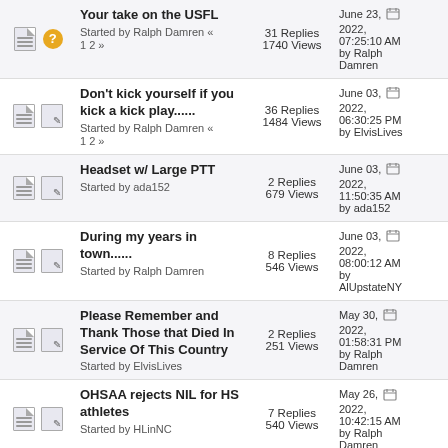| Icons | Topic | Stats | Last Post |
| --- | --- | --- | --- |
| [doc][?] | Your take on the USFL
Started by Ralph Damren «
1 2 » | 31 Replies
1740 Views | June 23, 2022, 07:25:10 AM
by Ralph Damren |
| [doc][pencil] | Don't kick yourself if you kick a kick play......
Started by Ralph Damren «
1 2 » | 36 Replies
1484 Views | June 03, 2022, 06:30:25 PM
by ElvisLives |
| [doc][pencil] | Headset w/ Large PTT
Started by ada152 | 2 Replies
679 Views | June 03, 2022, 11:50:35 AM
by ada152 |
| [doc][pencil] | During my years in town......
Started by Ralph Damren | 8 Replies
546 Views | June 03, 2022, 08:00:12 AM
by AlUpstateNY |
| [doc][pencil] | Please Remember and Thank Those that Died In Service Of This Country
Started by ElvisLives | 2 Replies
251 Views | May 30, 2022, 01:58:31 PM
by Ralph Damren |
| [doc][pencil] | OHSAA rejects NIL for HS athletes
Started by HLinNC | 7 Replies
540 Views | May 26, 2022, 10:42:15 AM
by Ralph Damren |